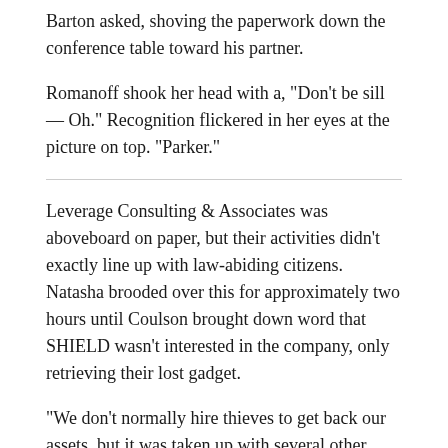Barton asked, shoving the paperwork down the conference table toward his partner.
Romanoff shook her head with a, "Don't be sill— Oh." Recognition flickered in her eyes at the picture on top. "Parker."
Leverage Consulting & Associates was aboveboard on paper, but their activities didn't exactly line up with law-abiding citizens. Natasha brooded over this for approximately two hours until Coulson brought down word that SHIELD wasn't interested in the company, only retrieving their lost gadget.
"We don't normally hire thieves to get back our assets, but it was taken up with several other owners' materials in a mass raid on the storage facility," Coulson informed them. "This crew retrieved all of the stolen goods."